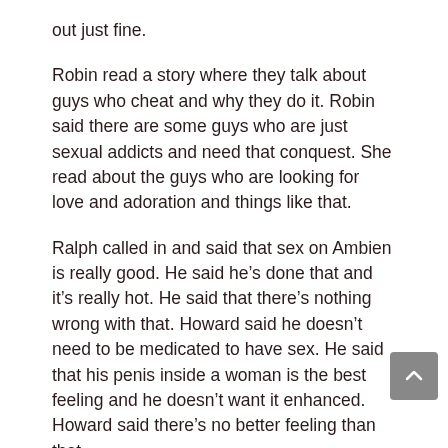out just fine.
Robin read a story where they talk about guys who cheat and why they do it. Robin said there are some guys who are just sexual addicts and need that conquest. She read about the guys who are looking for love and adoration and things like that.
Ralph called in and said that sex on Ambien is really good. He said he’s done that and it’s really hot. He said that there’s nothing wrong with that. Howard said he doesn’t need to be medicated to have sex. He said that his penis inside a woman is the best feeling and he doesn’t want it enhanced. Howard said there’s no better feeling than that.
Robin read about Ron Wood...